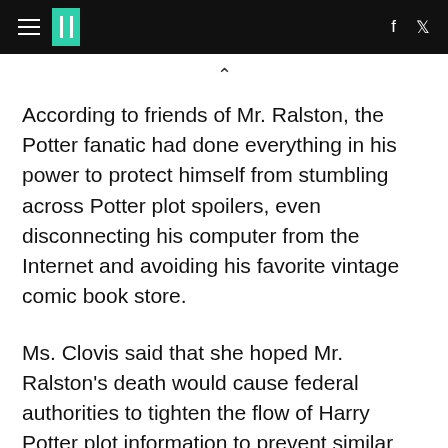HuffPost
According to friends of Mr. Ralston, the Potter fanatic had done everything in his power to protect himself from stumbling across Potter plot spoilers, even disconnecting his computer from the Internet and avoiding his favorite vintage comic book store.
Ms. Clovis said that she hoped Mr. Ralston's death would cause federal authorities to tighten the flow of Harry Potter plot information to prevent similar tragedies from taking place.
"In my heart I believe that could have saved